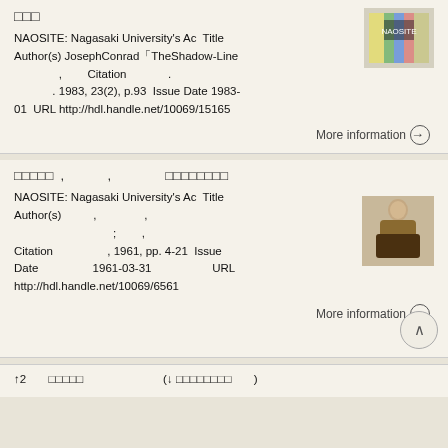□□□
NAOSITE: Nagasaki University's Ac Title Author(s) JosephConrad「TheShadow-Line , Citation . 1983, 23(2), p.93 Issue Date 1983-01 URL http://hdl.handle.net/10069/15165
More information →
□□□□□ , , □□□□□□□□
NAOSITE: Nagasaki University's Ac Title Author(s) , , ; , Citation , 1961, pp. 4-21 Issue Date 1961-03-31 URL http://hdl.handle.net/10069/6561
More information →
↑2 □□□□□ (↓□□□□□□□□ )